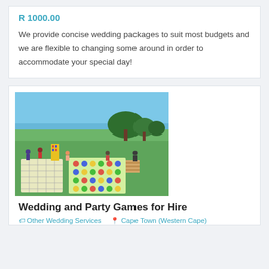R 1000.00
We provide concise wedding packages to suit most budgets and we are flexible to changing some around in order to accommodate your special day!
[Figure (photo): Outdoor photo showing people playing large-scale lawn games on a green grass field. There are oversized board games (Snakes and Ladders, Connect Four, Jenga) with trees and ocean visible in the background under a clear blue sky.]
Wedding and Party Games for Hire
Other Wedding Services   Cape Town (Western Cape)